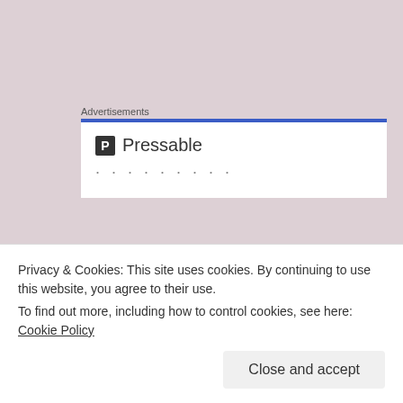Advertisements
[Figure (screenshot): Pressable advertisement banner with blue top border, P icon logo and dotted loading indicator]
Chris
MARCH 29, 2014 AT 3:38 AM
Great post. I love the analogy. Just came across
Privacy & Cookies: This site uses cookies. By continuing to use this website, you agree to their use.
To find out more, including how to control cookies, see here: Cookie Policy
Close and accept